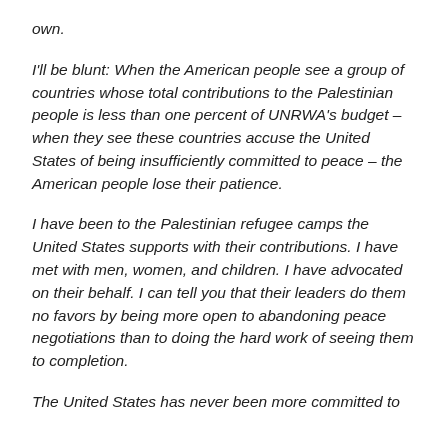own.
I'll be blunt: When the American people see a group of countries whose total contributions to the Palestinian people is less than one percent of UNRWA's budget – when they see these countries accuse the United States of being insufficiently committed to peace – the American people lose their patience.
I have been to the Palestinian refugee camps the United States supports with their contributions. I have met with men, women, and children. I have advocated on their behalf. I can tell you that their leaders do them no favors by being more open to abandoning peace negotiations than to doing the hard work of seeing them to completion.
The United States has never been more committed to